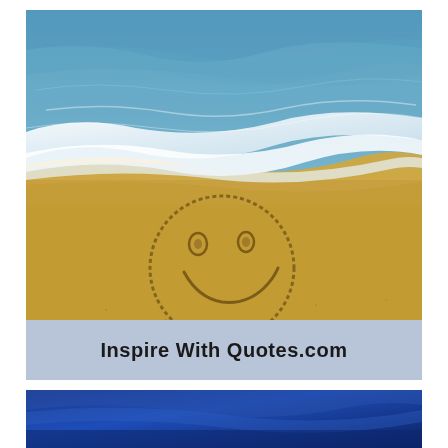[Figure (photo): Beach scene with ocean waves washing onto sandy shore; a smiley face drawn in the sand is visible in the lower portion of the image]
Inspire With Quotes.com
[Figure (photo): Partial view of a blue-toned image at the bottom of the page, appears to be another beach or water scene]